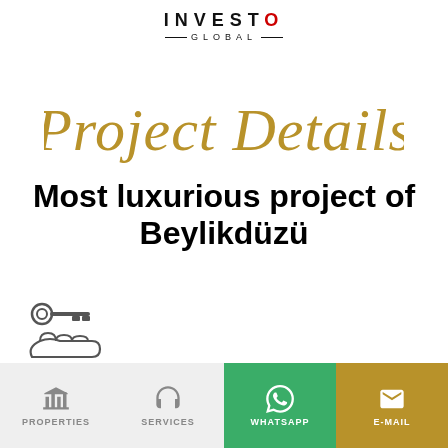INVEST O GLOBAL
Project Details
Most luxurious project of Beylikdüzü
[Figure (illustration): Key and hand icons with a horizontal divider line, and 'READY TO MOVE / DELIVERED' text with a cyan chat bubble icon]
[Figure (infographic): Bottom navigation bar with Properties, Services, WhatsApp, and E-Mail buttons]